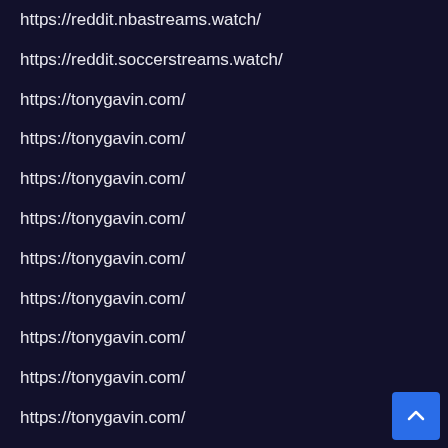https://reddit.nbastreams.watch/
https://reddit.soccerstreams.watch/
https://tonygavin.com/
https://tonygavin.com/
https://tonygavin.com/
https://tonygavin.com/
https://tonygavin.com/
https://tonygavin.com/
https://tonygavin.com/
https://tonygavin.com/
https://tonygavin.com/
https://tonygavin.com/
https://airconditioningorangecounty.wordpress.com
https://airconditioningorangecounty.wordpress.com
https://airconditioningorangecounty.wordpress.com